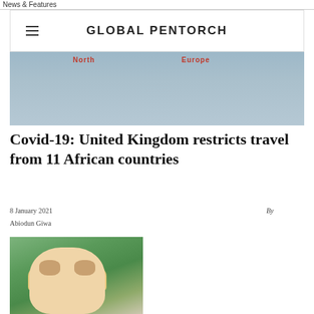News & Features
GLOBAL PENTORCH
[Figure (map): Partial world map banner showing regions labeled North and Europe]
Covid-19: United Kingdom restricts travel from 11 African countries
8 January 2021
By
Abiodun Giwa
[Figure (photo): Photograph of Boris Johnson outdoors, wearing a suit, with blond hair, in front of greenery]